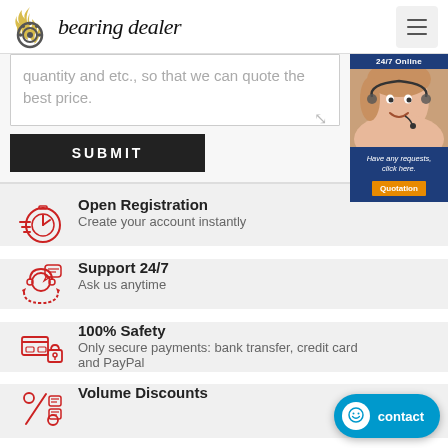bearing dealer
quantity and etc., so that we can quote the best price.
SUBMIT
[Figure (illustration): 24/7 Online customer support widget with photo of woman wearing headset, 'Have any requests, click here.' text and orange Quotation button]
Open Registration
Create your account instantly
Support 24/7
Ask us anytime
100% Safety
Only secure payments: bank transfer, credit card and PayPal
Volume Discounts
[Figure (illustration): Blue contact button with smiley face icon at bottom right]